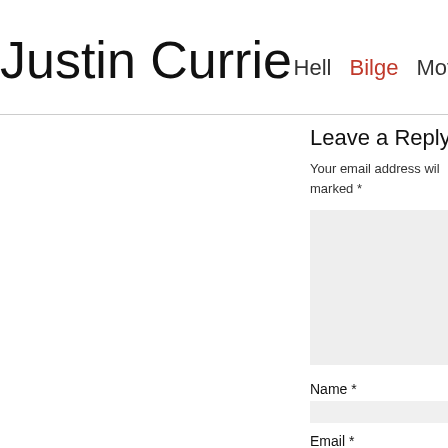Justin Currie  Hell  Bilge  Moti
Leave a Reply t
Your email address wil marked *
[Figure (other): Comment text area input field (light grey background)]
Name *
[Figure (other): Name input field (light grey background)]
Email *
[Figure (other): Email input field (light grey background)]
Website